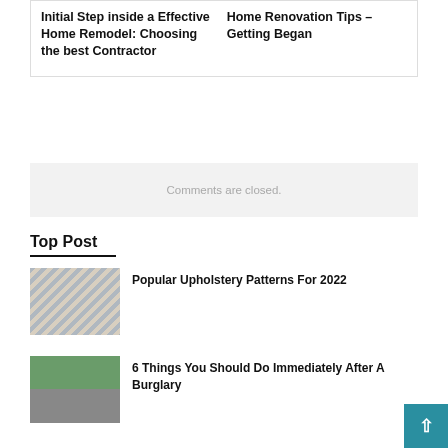Initial Step inside a Effective Home Remodel: Choosing the best Contractor
Home Renovation Tips – Getting Began
Comments are closed.
Top Post
[Figure (photo): Interior room with upholstery patterns thumbnail]
Popular Upholstery Patterns For 2022
[Figure (photo): Person at door outdoors thumbnail]
6 Things You Should Do Immediately After A Burglary